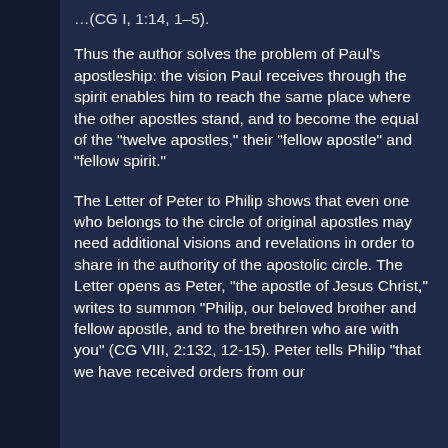Thus the author solves the problem of Paul's apostleship: the vision Paul receives through the spirit enables him to reach the same place where the other apostles stand, and to become the equal of the "twelve apostles," their "fellow apostle" and "fellow spirit."
The Letter of Peter to Philip shows that even one who belongs to the circle of original apostles may need additional visions and revelations in order to share in the authority of the apostolic circle. The Letter opens as Peter, "the apostle of Jesus Christ," writes to summon "Philip, our beloved brother and fellow apostle, and to the brethren who are with you" (CG VIII, 2:132, 12-15). Peter tells Philip "that we have received orders from our